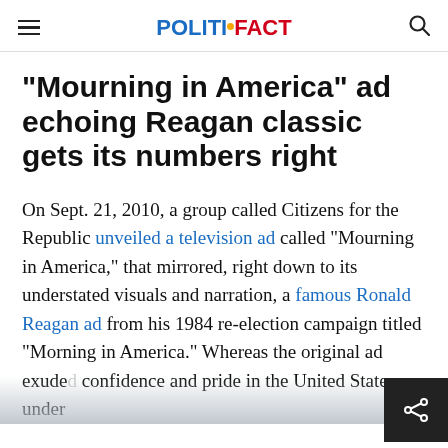POLITIFACT
"Mourning in America" ad echoing Reagan classic gets its numbers right
On Sept. 21, 2010, a group called Citizens for the Republic unveiled a television ad called "Mourning in America," that mirrored, right down to its understated visuals and narration, a famous Ronald Reagan ad from his 1984 re-election campaign titled "Morning in America." Whereas the original ad exuded confidence and pride in the United States under